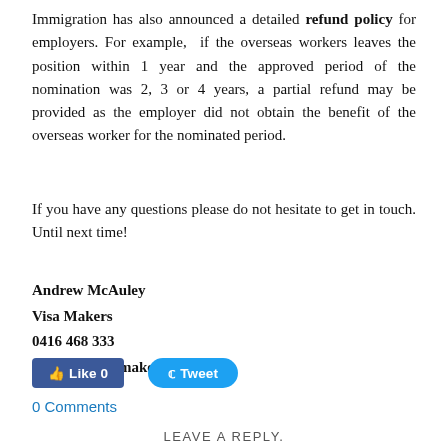Immigration has also announced a detailed refund policy for employers. For example,  if the overseas workers leaves the position within 1 year and the approved period of the nomination was 2, 3 or 4 years, a partial refund may be provided as the employer did not obtain the benefit of the overseas worker for the nominated period.
If you have any questions please do not hesitate to get in touch. Until next time!
Andrew McAuley
Visa Makers
0416 468 333
andrew@visamakers.com.au
[Figure (other): Social media buttons: Facebook Like 0 button and Twitter Tweet button]
0 Comments
LEAVE A REPLY.